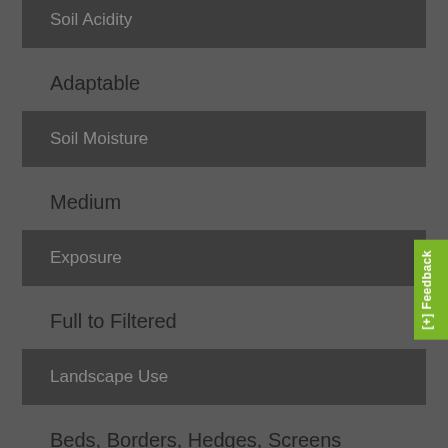Soil Acidity
Adaptable
Soil Moisture
Medium
Exposure
Full to Filtered
Landscape Use
Beds, Borders, Hedges, Screens
Maintenance